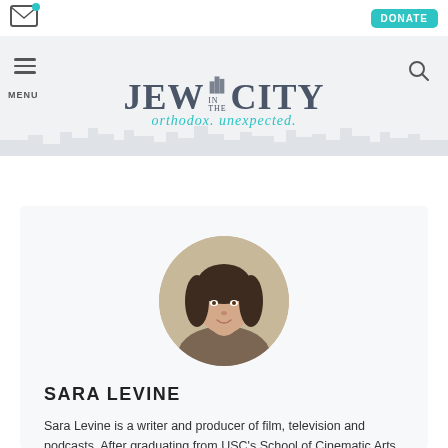[Figure (screenshot): Email envelope icon with teal notification dot]
[Figure (screenshot): Teal DONATE button]
[Figure (logo): Jew in the City logo with tagline 'orthodox. unexpected.' and city skyline silhouette]
[Figure (photo): Circular profile photo of Sara Levine, a woman with dark hair]
SARA LEVINE
Sara Levine is a writer and producer of film, television and podcasts. After graduating from USC's School of Cinematic Arts, she was the chief content of her development...